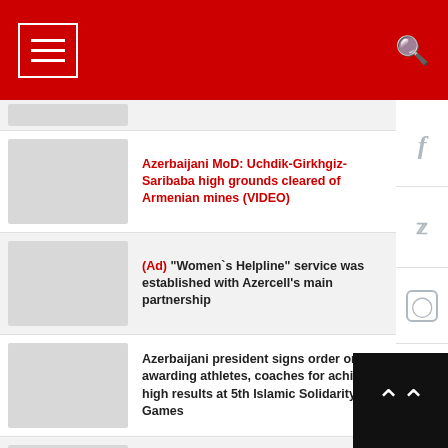Navigation header with menu button and search icon
Azerbaijani MoD: Uchdik-Girkhgiz-Saribaba high grounds cleared of Armenian mines (VIDEO)
(Ad) "Women`s Helpline" service was established with Azercell's main partnership
Azerbaijani president signs order on awarding athletes, coaches for achieving high results at 5th Islamic Solidarity Games
Azerbaijan continues implementing another important road infrastructure project in its liberated territories (PHOTO)